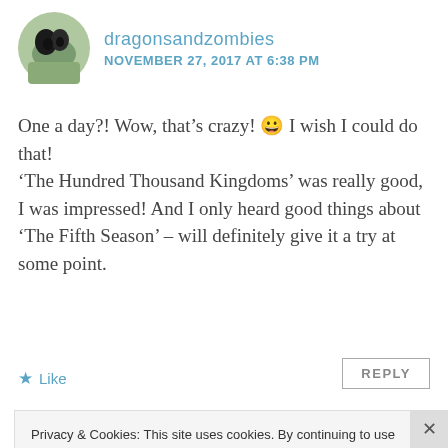[Figure (photo): Circular avatar photo showing a cat or small dog on grass, black and white coloring]
dragonsandzombies
NOVEMBER 27, 2017 AT 6:38 PM
One a day?! Wow, that's crazy! 😀 I wish I could do that!
'The Hundred Thousand Kingdoms' was really good, I was impressed! And I only heard good things about 'The Fifth Season' – will definitely give it a try at some point.
★ Like
REPLY
Privacy & Cookies: This site uses cookies. By continuing to use this website, you agree to their use.
To find out more, including how to control cookies, see here: Cookie Policy
Close and accept